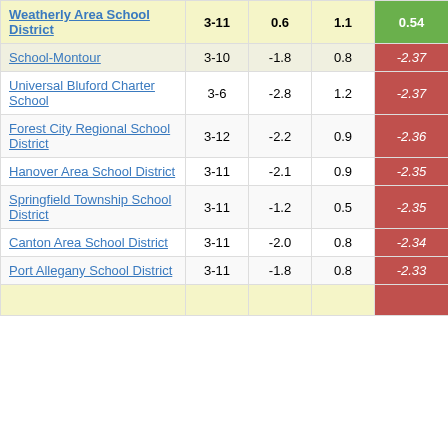| School/District | Grades | Col3 | Col4 | Score |
| --- | --- | --- | --- | --- |
| Weatherly Area School District | 3-11 | 0.6 | 1.1 | 0.54 |
| [partial] School-Montour | 3-10 | -1.8 | 0.8 | -2.37 |
| Universal Bluford Charter School | 3-6 | -2.8 | 1.2 | -2.37 |
| Forest City Regional School District | 3-12 | -2.2 | 0.9 | -2.36 |
| Hanover Area School District | 3-11 | -2.1 | 0.9 | -2.35 |
| Springfield Township School District | 3-11 | -1.2 | 0.5 | -2.35 |
| Canton Area School District | 3-11 | -2.0 | 0.8 | -2.34 |
| Port Allegany School District | 3-11 | -1.8 | 0.8 | -2.33 |